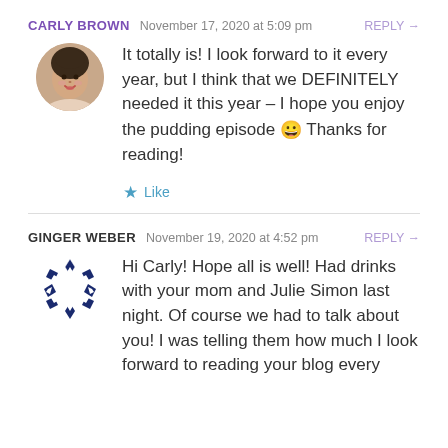CARLY BROWN   November 17, 2020 at 5:09 pm   REPLY →
It totally is! I look forward to it every year, but I think that we DEFINITELY needed it this year – I hope you enjoy the pudding episode 😀 Thanks for reading!
★ Like
GINGER WEBER   November 19, 2020 at 4:52 pm   REPLY →
Hi Carly! Hope all is well! Had drinks with your mom and Julie Simon last night. Of course we had to talk about you! I was telling them how much I look forward to reading your blog every